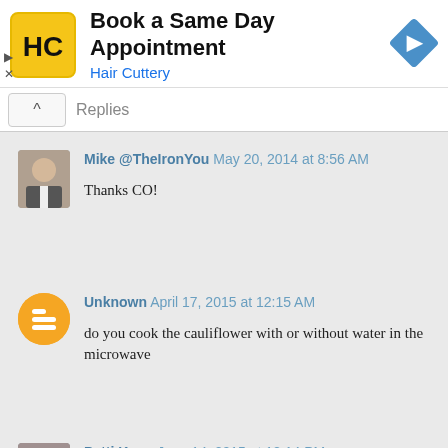[Figure (screenshot): Hair Cuttery advertisement banner with HC logo, title 'Book a Same Day Appointment', subtitle 'Hair Cuttery', and a blue diamond navigation arrow icon]
Replies
Mike @TheIronYou May 20, 2014 at 8:56 AM
Thanks CO!
Unknown April 17, 2015 at 12:15 AM
do you cook the cauliflower with or without water in the microwave
Patti Knox June 14, 2015 at 12:14 PM
Hi, Brandy - you don't add any water but the